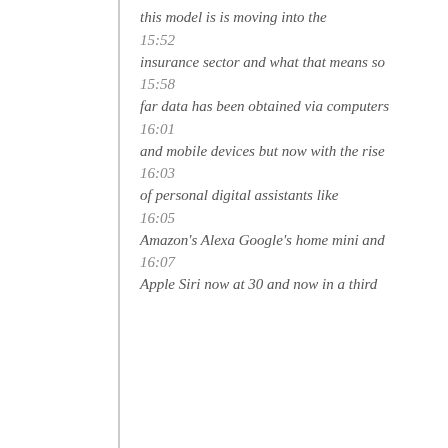this model is is moving into the
15:52
insurance sector and what that means so
15:58
far data has been obtained via computers
16:01
and mobile devices but now with the rise
16:03
of personal digital assistants like
16:05
Amazon's Alexa Google's home mini and
16:07
Apple Siri now at 30 and now in a third